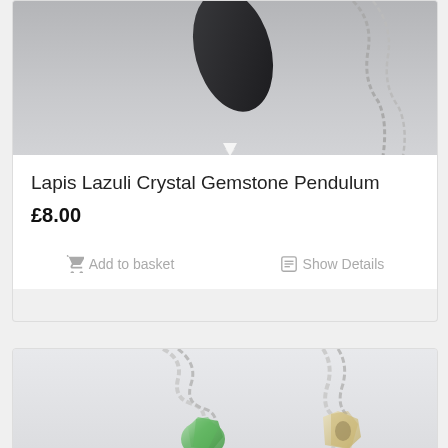[Figure (photo): Top portion of a product card showing a dark gemstone pendulum on a grey background with a silver chain, cropped at the top]
Lapis Lazuli Crystal Gemstone Pendulum
£8.00
Add to basket   Show Details
[Figure (photo): Green fluorite and cream/green stone crystal gemstone pendulums on silver chains, laid on a white background]